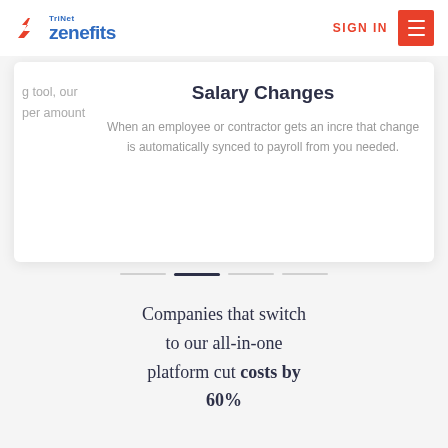[Figure (logo): TriNet Zenefits logo with zigzag icon in red and blue text]
SIGN IN
Salary Changes
When an employee or contractor gets an increase that change is automatically synced to payroll from you needed.
g tool, our per amount
Companies that switch to our all-in-one platform cut costs by 60%